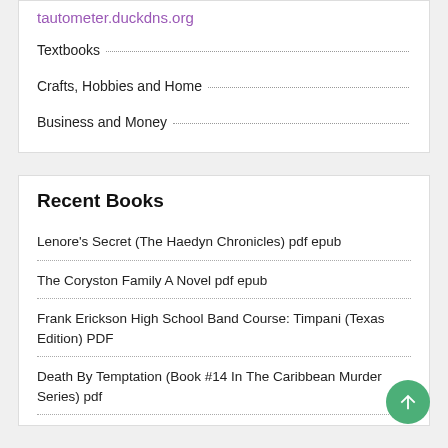tautometer.duckdns.org
Textbooks
Crafts, Hobbies and Home
Business and Money
Recent Books
Lenore's Secret (The Haedyn Chronicles) pdf epub
The Coryston Family A Novel pdf epub
Frank Erickson High School Band Course: Timpani (Texas Edition) PDF
Death By Temptation (Book #14 In The Caribbean Murder Series) pdf